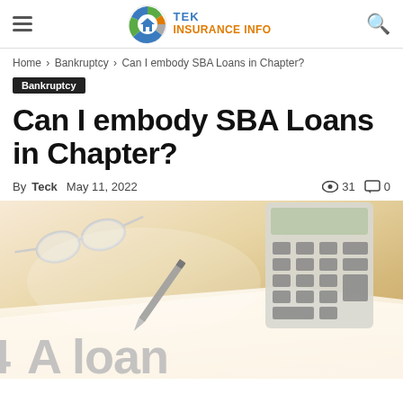TEK INSURANCE INFO
Home › Bankruptcy › Can I embody SBA Loans in Chapter?
Bankruptcy
Can I embody SBA Loans in Chapter?
By Teck  May 11, 2022   👁 31  🗨 0
[Figure (photo): Photo showing eyeglasses, a pen, a calculator, and a document with 'SBA loan' text on a warm beige/cream background]